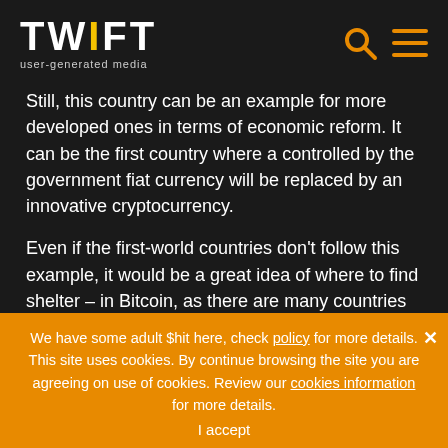TWIFT user-generated media
Still, this country can be an example for more developed ones in terms of economic reform. It can be the first country where a controlled by the government fiat currency will be replaced by an innovative cryptocurrency.
Even if the first-world countries don't follow this example, it would be a great idea of where to find shelter – in Bitcoin, as there are many countries facing money problems
We have some adult $hit here, check policy for more details. This site uses cookies. By continue browsing the site you are agreeing on use of cookies. Review our cookies information for more details.
I accept